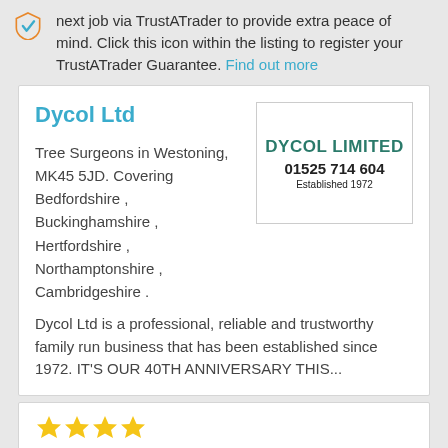next job via TrustATrader to provide extra peace of mind. Click this icon within the listing to register your TrustATrader Guarantee. Find out more
Dycol Ltd
Tree Surgeons in Westoning, MK45 5JD. Covering Bedfordshire , Buckinghamshire , Hertfordshire , Northamptonshire , Cambridgeshire .
[Figure (logo): Dycol Limited logo with phone number 01525 714 604 and Established 1972]
Dycol Ltd is a professional, reliable and trustworthy family run business that has been established since 1972. IT'S OUR 40TH ANNIVERSARY THIS...
[Figure (other): Four gold/yellow star rating icons]